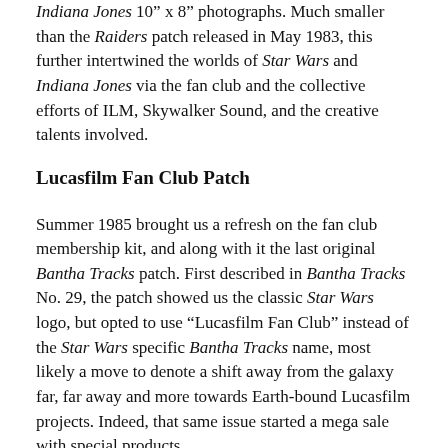Indiana Jones 10" x 8" photographs. Much smaller than the Raiders patch released in May 1983, this further intertwined the worlds of Star Wars and Indiana Jones via the fan club and the collective efforts of ILM, Skywalker Sound, and the creative talents involved.
Lucasfilm Fan Club Patch
Summer 1985 brought us a refresh on the fan club membership kit, and along with it the last original Bantha Tracks patch. First described in Bantha Tracks No. 29, the patch showed us the classic Star Wars logo, but opted to use "Lucasfilm Fan Club" instead of the Star Wars specific Bantha Tracks name, most likely a move to denote a shift away from the galaxy far, far away and more towards Earth-bound Lucasfilm projects. Indeed, that same issue started a mega sale with special products